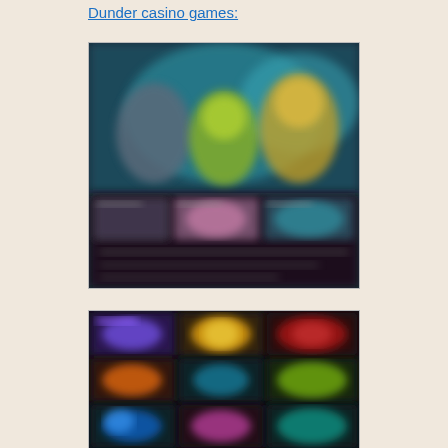Dunder casino games:
[Figure (screenshot): Blurred screenshot of Dunder casino interface showing live dealer game with animated characters in teal/blue and yellow tones, with game thumbnails below]
[Figure (screenshot): Blurred screenshot of Dunder casino slot games grid showing colorful game tiles in purple, orange, yellow, and teal]